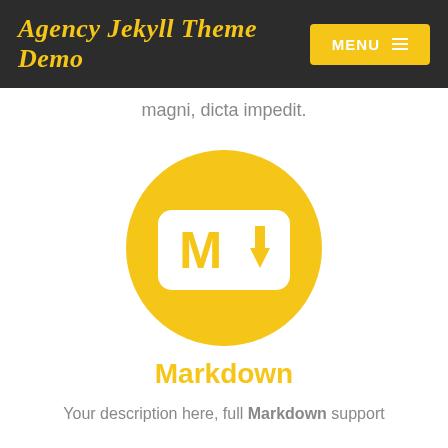Agency Jekyll Theme Demo
magni, dicta impedit.
[Figure (logo): Markdown logo: yellow circle with a white rounded-rectangle containing the letter M and a down arrow icon]
Markdown
Your description here, full Markdown support